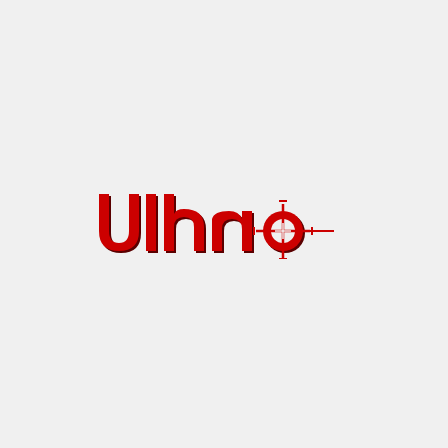[Figure (logo): Ulano brand logo in red, featuring bold lowercase letters 'ulano' with a crosshair/target symbol replacing or integrated into the letter 'o', with a dark shadow effect on some letters]